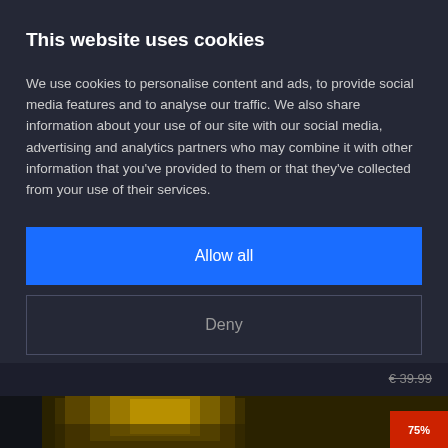This website uses cookies
We use cookies to personalise content and ads, to provide social media features and to analyse our traffic. We also share information about your use of our site with our social media, advertising and analytics partners who may combine it with other information that you've provided to them or that they've collected from your use of their services.
Allow all
Deny
Show details
€ 39.99
[Figure (photo): Partial view of a product image at the bottom of the page with a red discount badge showing 75%]